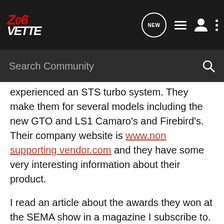Z06Vette community forum navigation bar with logo, NEW chat icon, list icon, user icon, more options icon
Search Community
experienced an STS turbo system. They make them for several models including the new GTO and LS1 Camaro's and Firebird's. Their company website is www.non supporting vendor.com and they have some very interesting information about their product.

I read an article about the awards they won at the SEMA show in a magazine I subscribe to. The STS Turbo is a remote mounted turbo system that truly is a bolt on system. The turbo takes the place of the cars muffler in the rear and sends the charged air back to the front of the car. There is no need for an intercooler since the air traveling back towards the front of the car is being cooled on the way. The only modification under the hood is to connect the intake pipe. 😏